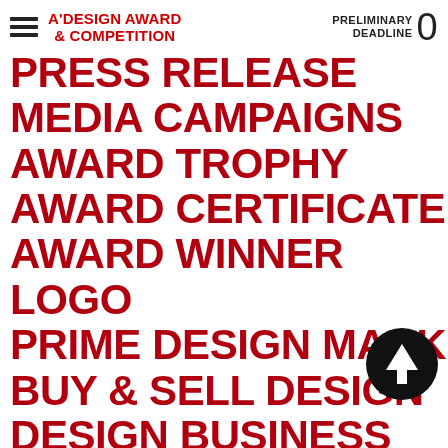A'DESIGN AWARD & COMPETITION — PRELIMINARY DEADLINE 0
PRESS RELEASE
MEDIA CAMPAIGNS
AWARD TROPHY
AWARD CERTIFICATE
AWARD WINNER LOGO
PRIME DESIGN MARK
BUY & SELL DESIGN
DESIGN BUSINESS
NETWORK